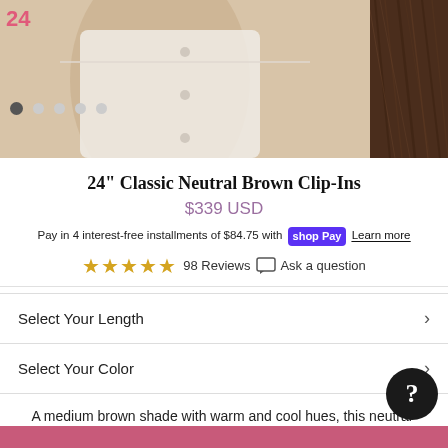[Figure (photo): Product photo strip showing a model wearing white clothing with clip-in hair extensions, and a close-up of brown hair on the right side. Navigation dots visible below.]
24" Classic Neutral Brown Clip-Ins
$339 USD
Pay in 4 interest-free installments of $84.75 with Shop Pay  Learn more
★★★★★ 98 Reviews  Ask a question
Select Your Length
Select Your Color
A medium brown shade with warm and cool hues, this neutral-toned shade is Chocolate Brown's ashier sister.
Your order will ship the next business day.